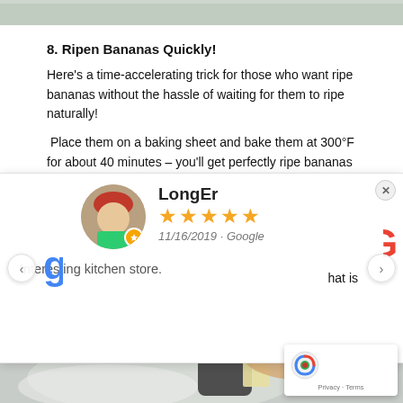[Figure (photo): Top partial image, light gray/green kitchen scene]
8. Ripen Bananas Quickly!
Here's a time-accelerating trick for those who want ripe bananas without the hassle of waiting for them to ripe naturally!
Place them on a baking sheet and bake them at 300°F for about 40 minutes – you'll get perfectly ripe bananas for you to use in your
[Figure (screenshot): Google review popup overlay: LongEr, 5 stars, 11/16/2019 - Google, Interesting kitchen store.]
[Figure (photo): Bottom partial photo of hands using a kitchen grater or peeler over a bowl]